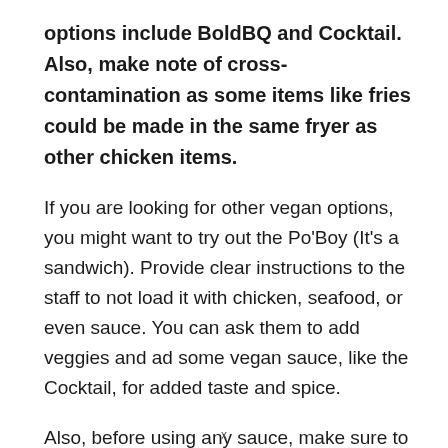options include BoldBQ and Cocktail. Also, make note of cross-contamination as some items like fries could be made in the same fryer as other chicken items.
If you are looking for other vegan options, you might want to try out the Po'Boy (It's a sandwich). Provide clear instructions to the staff to not load it with chicken, seafood, or even sauce. You can ask them to add veggies and ad some vegan sauce, like the Cocktail, for added taste and spice.
Also, before using any sauce, make sure to read the ingredients and double-check for any dairy or animal
x